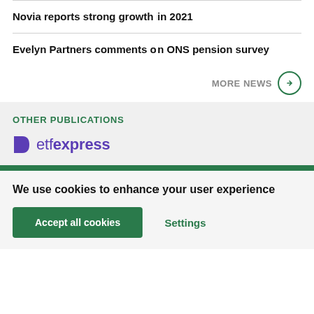Novia reports strong growth in 2021
Evelyn Partners comments on ONS pension survey
MORE NEWS →
OTHER PUBLICATIONS
[Figure (logo): etfexpress logo with purple D icon and text]
We use cookies to enhance your user experience
Accept all cookies
Settings